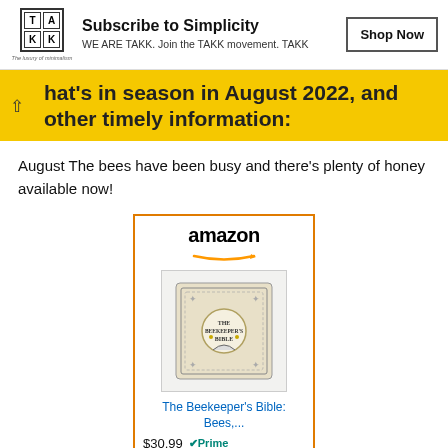[Figure (logo): TAKK brand logo with grid of letters T,A,K,K in boxes and tagline 'The luxury of minimalism'. Includes 'Subscribe to Simplicity' heading, 'WE ARE TAKK. Join the TAKK movement. TAKK' text, and a 'Shop Now' button.]
What's in season in August 2022, and other timely information:
August The bees have been busy and there's plenty of honey available now!
[Figure (screenshot): Amazon advertisement for 'The Beekeeper's Bible: Bees,...' book priced at $30.99 with Prime badge and 'Shop now' button with Amazon logo.]